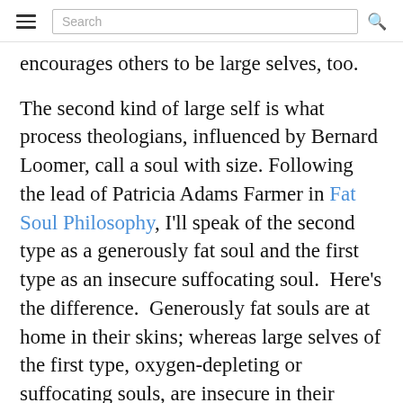Search
encourages others to be large selves, too.
The second kind of large self is what process theologians, influenced by Bernard Loomer, call a soul with size. Following the lead of Patricia Adams Farmer in Fat Soul Philosophy, I'll speak of the second type as a generously fat soul and the first type as an insecure suffocating soul.  Here's the difference.  Generously fat souls are at home in their skins; whereas large selves of the first type, oxygen-depleting or suffocating souls, are insecure in their skins, which is why